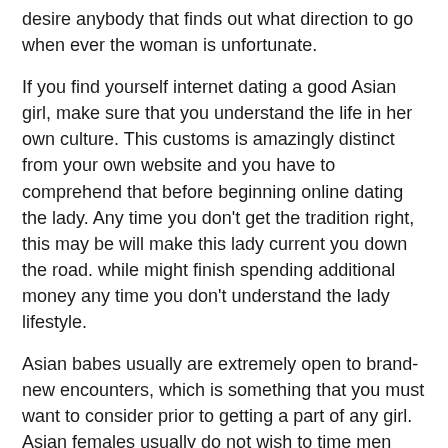desire anybody that finds out what direction to go when ever the woman is unfortunate.
If you find yourself internet dating a good Asian girl, make sure that you understand the life in her own culture. This customs is amazingly distinct from your own website and you have to comprehend that before beginning online dating the lady. Any time you don’t get the tradition right, this may be will make this lady current you down the road. while might finish spending additional money any time you don’t understand the lady lifestyle.
Asian babes usually are extremely open to brand-new encounters, which is something that you must want to consider prior to getting a part of any girl. Asian females usually do not wish to time men they are unfamiliar with. While uncomfortable along with her, she’ll not be confident with your so that you wont last for very long inside her lifetime.